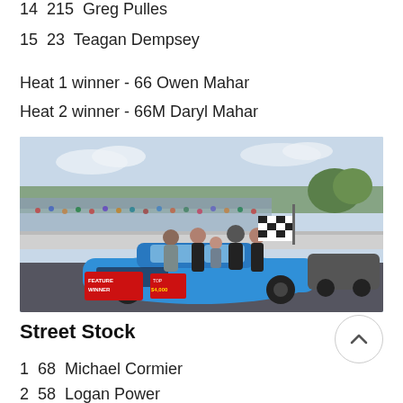14  215  Greg Pulles
15  23  Teagan Dempsey
Heat 1 winner - 66 Owen Mahar
Heat 2 winner - 66M Daryl Mahar
[Figure (photo): Victory lane photo with a blue race car (#3) and several people posing with a checkered flag. A 'Feature Winner' sign and trophy/check are visible in the foreground. Grandstands with spectators in the background.]
Street Stock
1  68  Michael Cormier
2  58  Logan Power